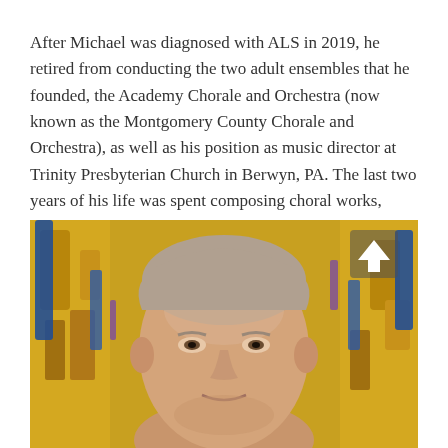After Michael was diagnosed with ALS in 2019, he retired from conducting the two adult ensembles that he founded, the Academy Chorale and Orchestra (now known as the Montgomery County Chorale and Orchestra), as well as his position as music director at Trinity Presbyterian Church in Berwyn, PA. The last two years of his life was spent composing choral works, writing more books, and finishing his memoirs. Michael passed away in July 2021.
[Figure (photo): Close-up portrait of an elderly man with grey hair, smiling, in front of a gold and blue decorative background resembling stained glass.]